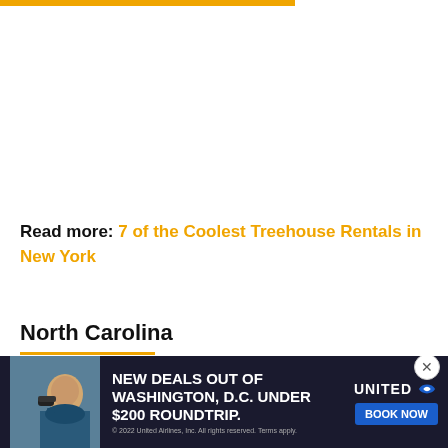[Figure (other): Orange/gold horizontal bar at the top of the page, partial width]
Read more: 7 of the Coolest Treehouse Rentals in New York
North Carolina
33. Cozy Owl Cabin
[Figure (photo): Advertisement banner from United Airlines: 'NEW DEALS OUT OF WASHINGTON, D.C. UNDER $200 ROUNDTRIP. BOOK NOW' with a person in snorkeling gear and United Airlines logo. Close button on right.]